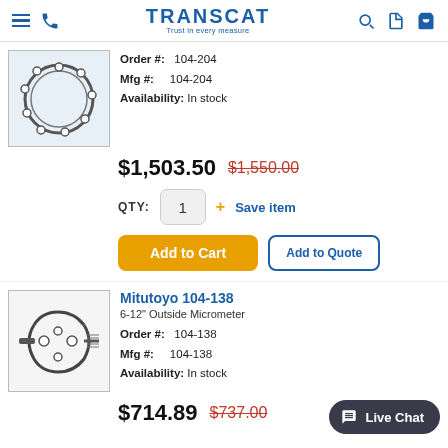TRANSCAT - Trust in every measure
[Figure (photo): Product image of a large outside micrometer (circular frame with adjustment holes) for the first product]
Order #: 104-204
Mfg #: 104-204
Availability: In stock
$1,503.50  $1,550.00
QTY: 1 + Save item
Add to Cart  Add to Quote
[Figure (photo): Product image of Mitutoyo 104-138 outside micrometer with distinctive frame shape]
Mitutoyo 104-138
6-12" Outside Micrometer
Order #: 104-138
Mfg #: 104-138
Availability: In stock
$714.89  $737.00